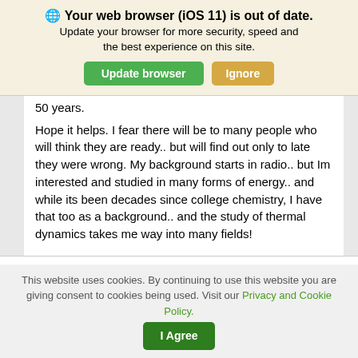🌐 Your web browser (iOS 11) is out of date.
Update your browser for more security, speed and the best experience on this site.
50 years.
Hope it helps. I fear there will be to many people who will think they are ready.. but will find out only to late they were wrong. My background starts in radio.. but Im interested and studied in many forms of energy.. and while its been decades since college chemistry, I have that too as a background.. and the study of thermal dynamics takes me way into many fields!
This website uses cookies. By continuing to use this website you are giving consent to cookies being used. Visit our Privacy and Cookie Policy.